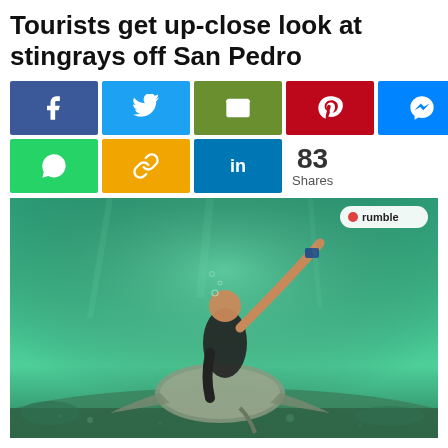Tourists get up-close look at stingrays off San Pedro
[Figure (screenshot): Social media share buttons: Facebook (blue), Twitter (light blue), Email (green), Pinterest (red), Messenger (blue), WhatsApp (green), chain link (gold), LinkedIn (blue), and a share count showing 83 Shares]
[Figure (photo): Underwater video still showing a person diving down to touch a stingray resting on the sandy seafloor, with turquoise-green water and reef visible. Rumble logo watermark in top right corner.]